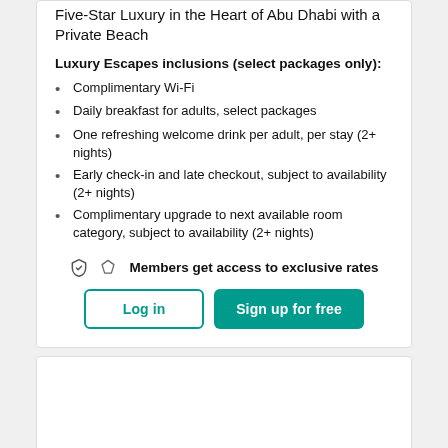Five-Star Luxury in the Heart of Abu Dhabi with a Private Beach
Luxury Escapes inclusions (select packages only):
Complimentary Wi-Fi
Daily breakfast for adults, select packages
One refreshing welcome drink per adult, per stay (2+ nights)
Early check-in and late checkout, subject to availability (2+ nights)
Complimentary upgrade to next available room category, subject to availability (2+ nights)
Members get access to exclusive rates
Log in | Sign up for free